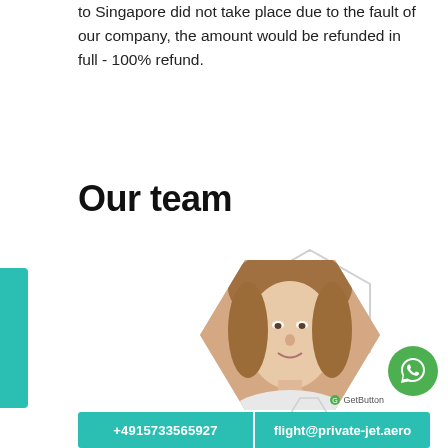to Singapore did not take place due to the fault of our company, the amount would be refunded in full - 100% refund.
Our team
[Figure (photo): Professional headshot of a middle-aged woman with light brown hair, smiling, inside a hexagonal gray frame with decorative hexagon outlines and a teal accent element at the bottom]
+4915733565927   flight@private-jet.aero